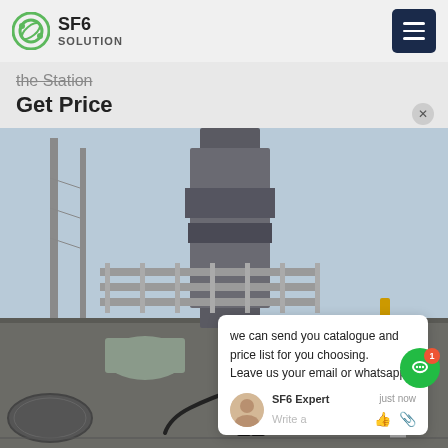SF6 SOLUTION
the Station
Get Price
[Figure (photo): Worker in blue coveralls and hard hat kneeling at industrial SF6 gas equipment at a substation, working on large cylindrical gas-insulated switchgear with metal scaffolding and high-voltage transmission line structures in the background.]
we can send you catalogue and price list for you choosing.
Leave us your email or whatsapp .
SF6 Expert    just now
Write a